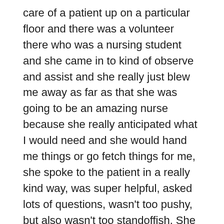care of a patient up on a particular floor and there was a volunteer there who was a nursing student and she came in to kind of observe and assist and she really just blew me away as far as that she was going to be an amazing nurse because she really anticipated what I would need and she would hand me things or go fetch things for me, she spoke to the patient in a really kind way, was super helpful, asked lots of questions, wasn't too pushy, but also wasn't too standoffish. She was really just perfect and just so nice to the patient and just a delight to work with. So I found out that she was applying for a PCA position at my hospital, which is a patient care assistant role, and I went and found the manager when I could later on that day to tell her that this particular student really knocked my socks off and that she would be an amazing PCA and eventually an amazing nurse. And sure enough, she got the position and then later on